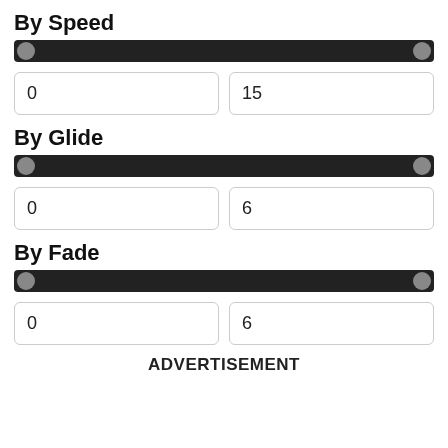By Speed
[Figure (other): Horizontal range slider with two handles at far left and far right positions, dark track]
0
15
By Glide
[Figure (other): Horizontal range slider with two handles at far left and far right positions, dark track]
0
6
By Fade
[Figure (other): Horizontal range slider with two handles at far left and far right positions, dark track]
0
6
ADVERTISEMENT